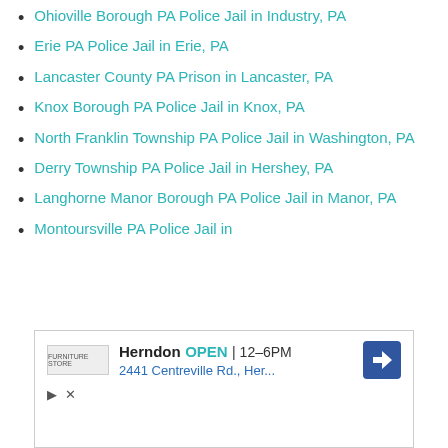Ohioville Borough PA Police Jail in Industry, PA
Erie PA Police Jail in Erie, PA
Lancaster County PA Prison in Lancaster, PA
Knox Borough PA Police Jail in Knox, PA
North Franklin Township PA Police Jail in Washington, PA
Derry Township PA Police Jail in Hershey, PA
Langhorne Manor Borough PA Police Jail in Manor, PA
Montoursville PA Police Jail in
[Figure (other): Advertisement box: Herndon store listing showing OPEN 12-6PM, address 2441 Centreville Rd., Her..., with navigation arrow icon, play and close controls]